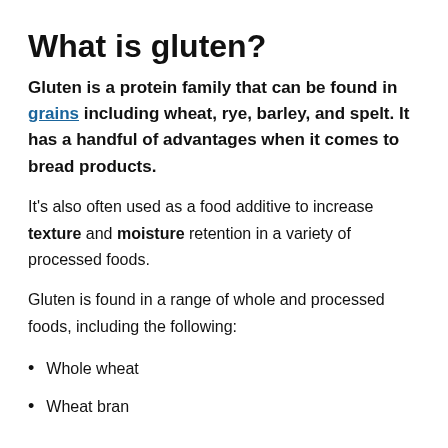What is gluten?
Gluten is a protein family that can be found in grains including wheat, rye, barley, and spelt. It has a handful of advantages when it comes to bread products.
It's also often used as a food additive to increase texture and moisture retention in a variety of processed foods.
Gluten is found in a range of whole and processed foods, including the following:
Whole wheat
Wheat bran